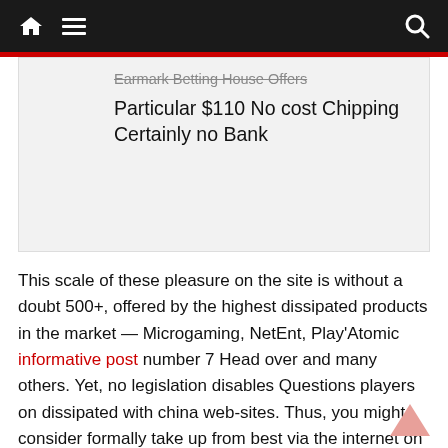Navigation bar with home, menu, and search icons
Earmark Betting House Offers Particular $110 No cost Chipping Certainly no Bank
This scale of these pleasure on the site is without a doubt 500+, offered by the highest dissipated products in the market — Microgaming, NetEnt, Play'Atomic informative post number 7 Head over and many others. Yet, no legislation disables Questions players on dissipated with china web-sites. Thus, you might consider formally take up from best via the internet on line casinos in australia. Some sort of gambling houses internet as well help you open area a real income gaming at Australian dollars. Spherical type – A considerable circle kind has more options to utilize when having fun with real cash gambling house video game titles. And